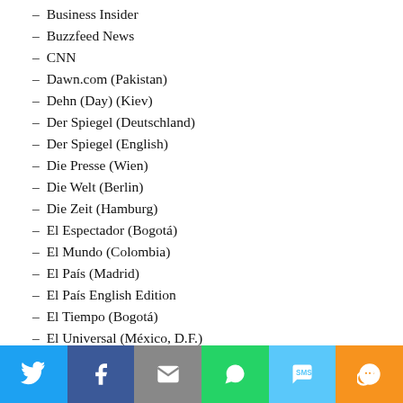– Business Insider
– Buzzfeed News
– CNN
– Dawn.com (Pakistan)
– Dehn (Day) (Kiev)
– Der Spiegel (Deutschland)
– Der Spiegel (English)
– Die Presse (Wien)
– Die Welt (Berlin)
– Die Zeit (Hamburg)
– El Espectador (Bogotá)
– El Mundo (Colombia)
– El País (Madrid)
– El País English Edition
– El Tiempo (Bogotá)
– El Universal (México, D.F.)
[Figure (infographic): Social share bar with Twitter, Facebook, Email, WhatsApp, SMS, and More buttons]